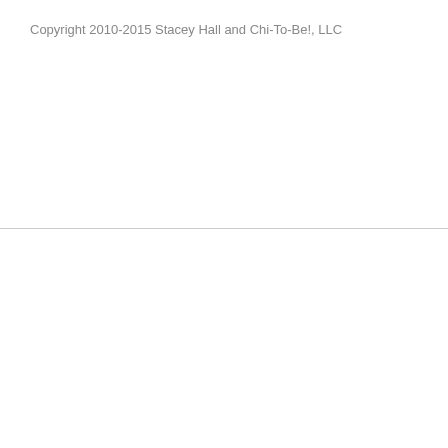Copyright 2010-2015 Stacey Hall and Chi-To-Be!, LLC
37-Page E-Book Exposes The 'Marketing Framework' To Attract A Never-Ending Flood of BUYERS for ANY Business Fast!
[Figure (photo): Book cover image of 'Attraction Marketing Secrets' — a dark-covered book standing upright showing bold white text on a dark background with the title 'ATTRACTION MARKETING SECRETS']